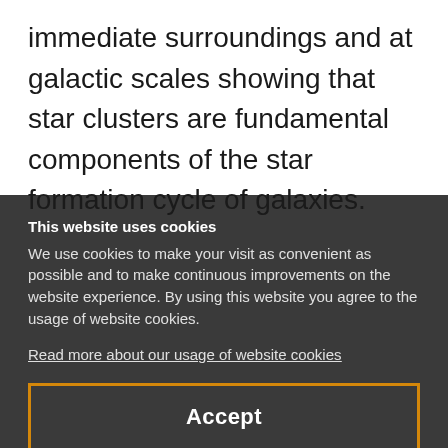immediate surroundings and at galactic scales showing that star clusters are fundamental components of the star formation cycle of galaxies.
This website uses cookies
We use cookies to make your visit as convenient as possible and to make continuous improvements on the website experience. By using this website you agree to the usage of website cookies.
Read more about our usage of website cookies
Accept